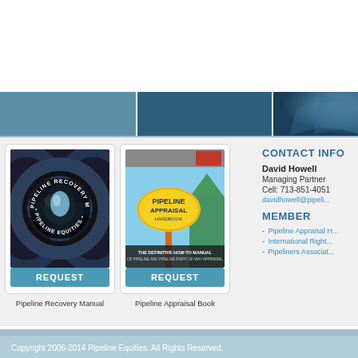[Figure (illustration): Three colored banner panels: steel blue, dark blue, and navy blue with subtle wave graphic]
[Figure (photo): Pipeline Recovery Manual book cover showing metallic pipe cross-sections with circular badge text]
Pipeline Recovery Manual
[Figure (photo): Pipeline Appraisal Book cover showing a yellow appraisal sign on a pole against blue sky]
Pipeline Appraisal Book
CONTACT INFO
David Howell
Managing Partner
Cell: 713-851-4051
davidhowell@pipeli...
MEMBER
Pipeline Appraisal H...
International Right...
Pipeliners Associat...
Copyright 2006-2014 Pipeline Equities. All Rights Reserved.